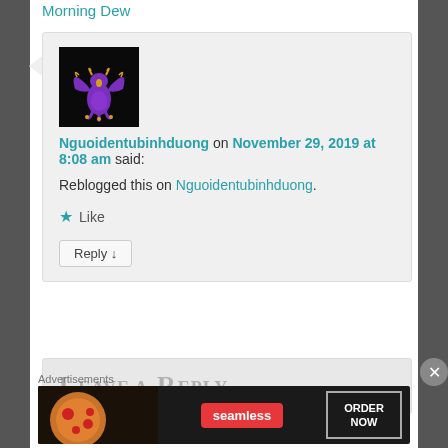Nguoidentubinhduong – October 10, 2019 (#00 13) | Morning Dew
[Figure (photo): Avatar image of Nguoidentubinhduong: stylized purple and gold creature on black background]
Nguoidentubinhduong on November 29, 2019 at 8:08 am said:
Reblogged this on Nguoidentubinhduong.
Like
Reply
Leave a Reply
Advertisements
[Figure (photo): Seamless food delivery advertisement banner with pizza image, Seamless red logo badge, and ORDER NOW button]